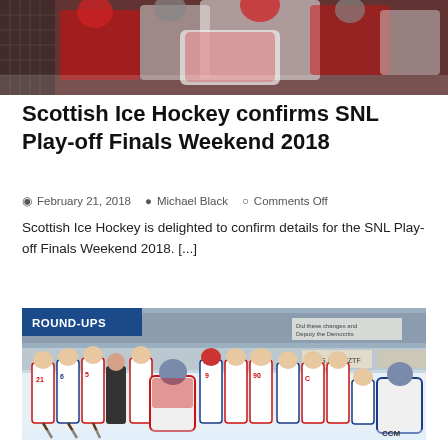[Figure (photo): Ice hockey players in action photo, top banner]
Scottish Ice Hockey confirms SNL Play-off Finals Weekend 2018
February 21, 2018   Michael Black   Comments Off
Scottish Ice Hockey is delighted to confirm details for the SNL Play-off Finals Weekend 2018. [...]
[Figure (photo): Ice hockey team group photo on ice rink with ROUND-UPS label]